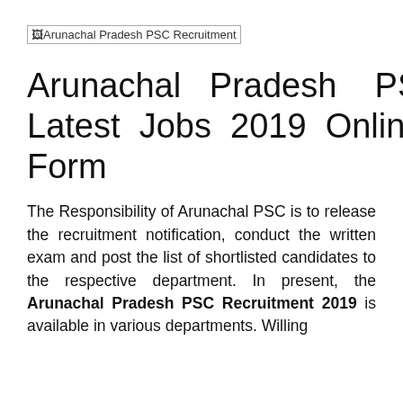[Figure (photo): Broken image placeholder labeled 'Arunachal Pradesh PSC Recruitment']
Arunachal Pradesh PSC Latest Jobs 2019 Online Form
The Responsibility of Arunachal PSC is to release the recruitment notification, conduct the written exam and post the list of shortlisted candidates to the respective department. In present, the Arunachal Pradesh PSC Recruitment 2019 is available in various departments. Willing